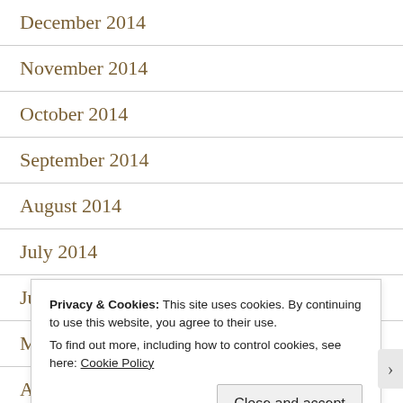December 2014
November 2014
October 2014
September 2014
August 2014
July 2014
June 2014
May 2014
April 2014
Privacy & Cookies: This site uses cookies. By continuing to use this website, you agree to their use. To find out more, including how to control cookies, see here: Cookie Policy
Close and accept